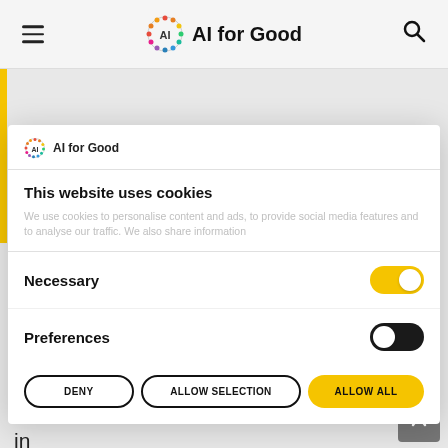AI for Good — navigation header with hamburger menu and search icon
[Figure (screenshot): Cookie consent modal dialog on AI for Good website. Contains logo, title 'This website uses cookies', descriptive text, Necessary toggle (on/yellow), Preferences toggle (off/black), and three buttons: DENY, ALLOW SELECTION, ALLOW ALL.]
professors or founded tech companies.
Those can form the new tech or AI nucleus in